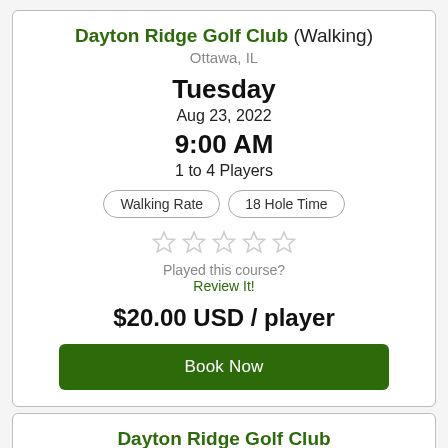Dayton Ridge Golf Club (Walking) Ottawa, IL
Tuesday
Aug 23, 2022
9:00 AM
1 to 4 Players
Walking Rate | 18 Hole Time
[Figure (other): 5 empty star rating icons]
Played this course?
Review It!
$20.00 USD / player
Book Now
Dayton Ridge Golf Club